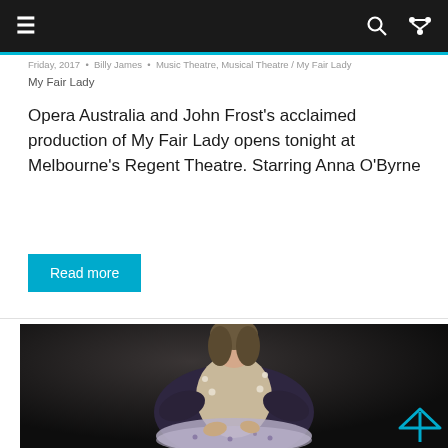≡   🔍  ⇌
Friday, 2017  •  Billy James  •  Music Theatre, Musical Theatre / My Fair Lady
My Fair Lady
Opera Australia and John Frost's acclaimed production of My Fair Lady opens tonight at Melbourne's Regent Theatre. Starring Anna O'Byrne
Read more
[Figure (photo): A woman in a dark knitted cardigan and floral skirt sits in a dramatic stage pose, in a theatrical production setting with dark background — likely Anna O'Byrne in My Fair Lady.]